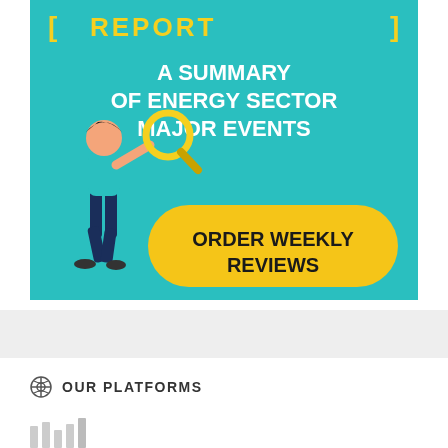[Figure (infographic): Energy sector weekly report promotional banner on teal background. Text reads 'REPORT - A SUMMARY OF ENERGY SECTOR MAJOR EVENTS' with a yellow pill button saying 'ORDER WEEKLY REVIEWS'. An illustrated person holding a magnifying glass stands to the left.]
OUR PLATFORMS